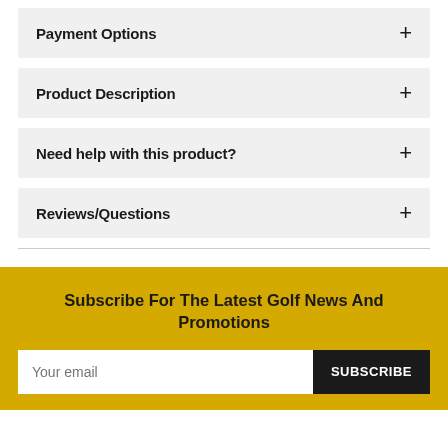Payment Options
Product Description
Need help with this product?
Reviews/Questions
Subscribe For The Latest Golf News And Promotions